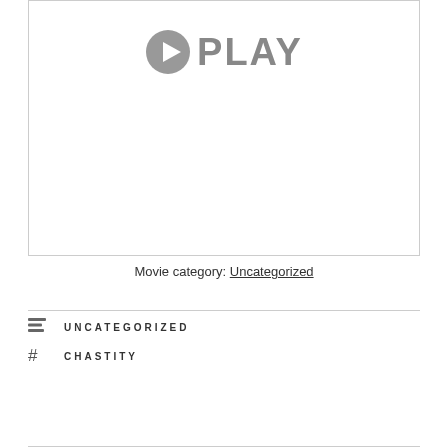[Figure (other): Video player placeholder showing a play button icon and the text PLAY]
Movie category: Uncategorized
UNCATEGORIZED
CHASTITY